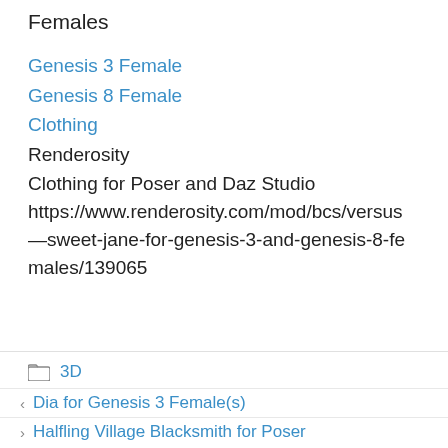Females
Genesis 3 Female
Genesis 8 Female
Clothing
Renderosity
Clothing for Poser and Daz Studio
https://www.renderosity.com/mod/bcs/versus—sweet-jane-for-genesis-3-and-genesis-8-females/139065
3D
Dia for Genesis 3 Female(s)
Halfling Village Blacksmith for Poser